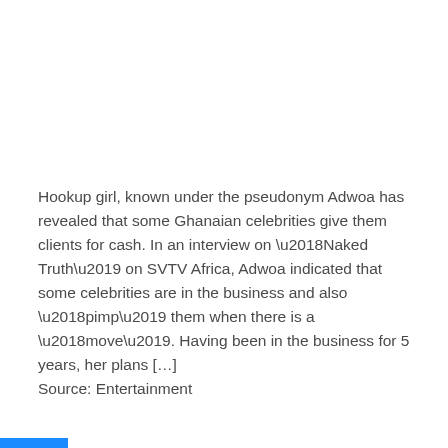Hookup girl, known under the pseudonym Adwoa has revealed that some Ghanaian celebrities give them clients for cash. In an interview on ‘Naked Truth’ on SVTV Africa, Adwoa indicated that some celebrities are in the business and also ‘pimp’ them when there is a ‘move’. Having been in the business for 5 years, her plans […]
Source: Entertainment